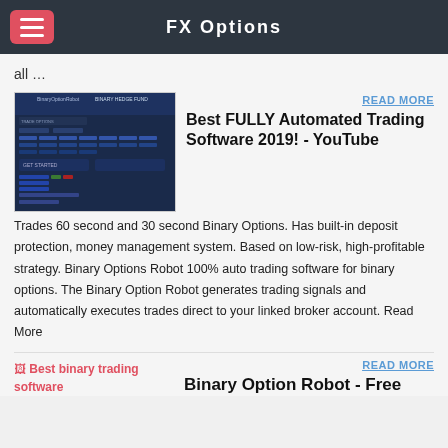FX Options
all …
[Figure (screenshot): Screenshot of BinaryOptionRobot and Binary Hedge Fund trading software interface showing a dark blue trading dashboard with entry fields and buttons.]
READ MORE
Best FULLY Automated Trading Software 2019! - YouTube
Trades 60 second and 30 second Binary Options. Has built-in deposit protection, money management system. Based on low-risk, high-profitable strategy. Binary Options Robot 100% auto trading software for binary options. The Binary Option Robot generates trading signals and automatically executes trades direct to your linked broker account. Read More
[Figure (photo): Broken image placeholder labeled 'Best binary trading software']
READ MORE
Binary Option Robot - Free